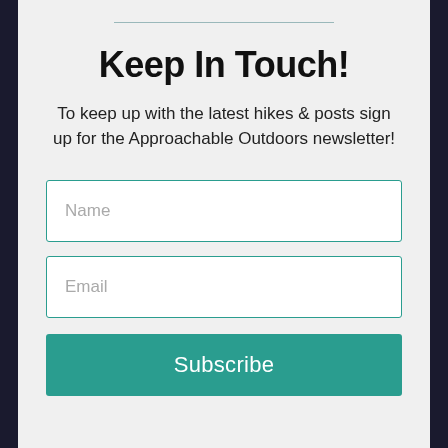Keep In Touch!
To keep up with the latest hikes & posts sign up for the Approachable Outdoors newsletter!
Name
Email
Subscribe